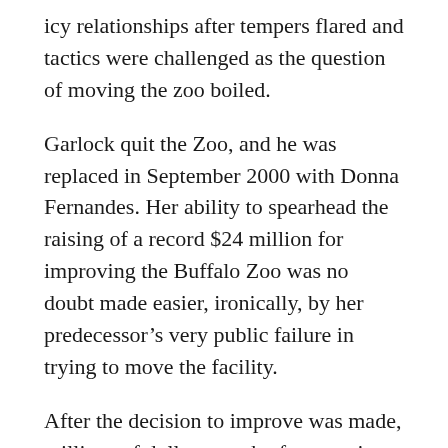icy relationships after tempers flared and tactics were challenged as the question of moving the zoo boiled.
Garlock quit the Zoo, and he was replaced in September 2000 with Donna Fernandes. Her ability to spearhead the raising of a record $24 million for improving the Buffalo Zoo was no doubt made easier, ironically, by her predecessor’s very public failure in trying to move the facility.
After the decision to improve was made, millions of dollars worth of renovations were realized, with much expected in the future. Now one of the more popular attractions, the Sea Lion Exhibit opened in 2005, proving the Zoo didn’t have to be moved, and could be improved.  The exhibit also welcomed one of the neighborhood’s more verbose residents to the area. The loud and joyful barks of Smokey the Sea